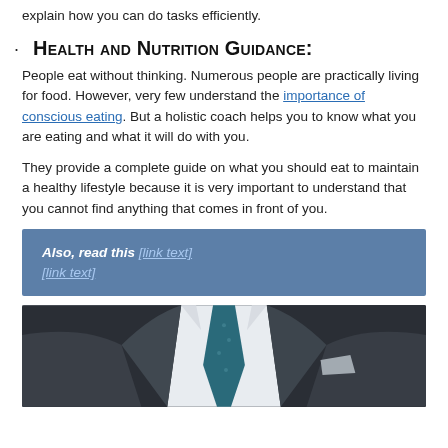explain how you can do tasks efficiently.
· Health and Nutrition Guidance:
People eat without thinking. Numerous people are practically living for food. However, very few understand the importance of conscious eating. But a holistic coach helps you to know what you are eating and what it will do with you.
They provide a complete guide on what you should eat to maintain a healthy lifestyle because it is very important to understand that you cannot find anything that comes in front of you.
Also, read this [link text redacted/blurred]
[Figure (photo): A man in a dark suit with a teal/blue tie, arms crossed, photographed from chest up against a dark background.]